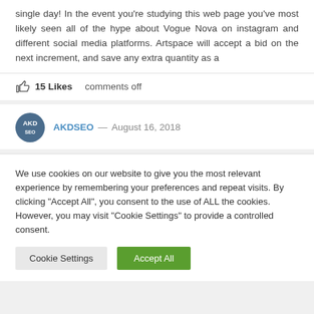single day! In the event you're studying this web page you've most likely seen all of the hype about Vogue Nova on instagram and different social media platforms. Artspace will accept a bid on the next increment, and save any extra quantity as a
15 Likes    comments off
AKDSEO — August 16, 2018
We use cookies on our website to give you the most relevant experience by remembering your preferences and repeat visits. By clicking "Accept All", you consent to the use of ALL the cookies. However, you may visit "Cookie Settings" to provide a controlled consent.
Cookie Settings    Accept All